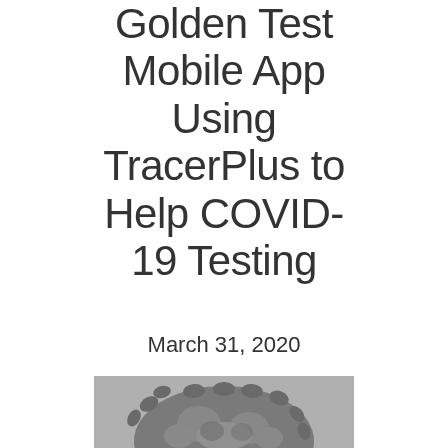Golden Test Mobile App Using TracerPlus to Help COVID-19 Testing
March 31, 2020
[Figure (photo): Grayscale microscope image of a coronavirus particle showing spike proteins on surface, partially cropped at bottom of page]